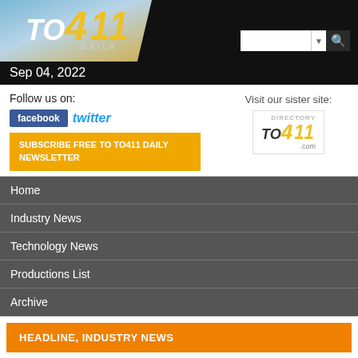TO411 DAILY
Sep 04, 2022
Follow us on:
facebook  twitter
SUBSCRIBE FREE TO TO411 DAILY NEWSLETTER
Visit our sister site:
[Figure (logo): TO411 Directory .com logo]
Home
Industry News
Technology News
Productions List
Archive
HEADLINE, INDUSTRY NEWS
MGM partners with Tom Cruise
Thursday November 02nd 2006